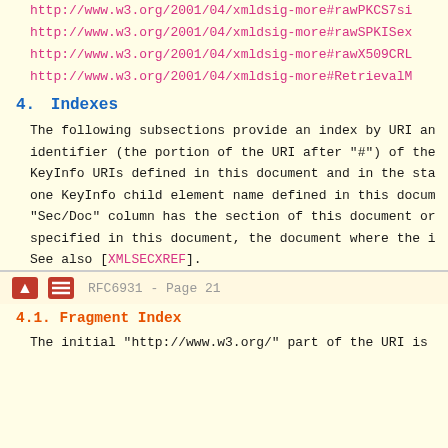http://www.w3.org/2001/04/xmldsig-more#rawPKCS7si
http://www.w3.org/2001/04/xmldsig-more#rawSPKISex
http://www.w3.org/2001/04/xmldsig-more#rawX509CRL
http://www.w3.org/2001/04/xmldsig-more#RetrievalM
4.  Indexes
The following subsections provide an index by URI an identifier (the portion of the URI after "#") of the KeyInfo URIs defined in this document and in the sta one KeyInfo child element name defined in this docum "Sec/Doc" column has the section of this document or specified in this document, the document where the i See also [XMLSECXREF].
RFC6931 - Page 21
4.1.  Fragment Index
The initial "http://www.w3.org/" part of the URI is